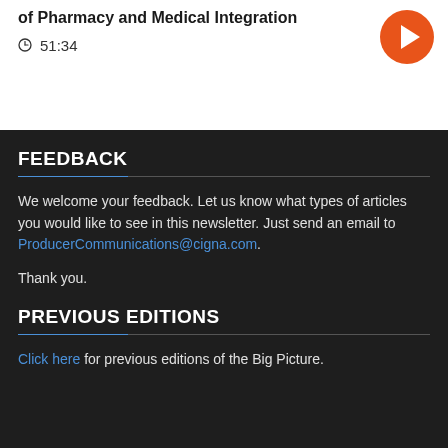of Pharmacy and Medical Integration
51:34
FEEDBACK
We welcome your feedback. Let us know what types of articles you would like to see in this newsletter. Just send an email to ProducerCommunications@cigna.com.
Thank you.
PREVIOUS EDITIONS
Click here for previous editions of the Big Picture.